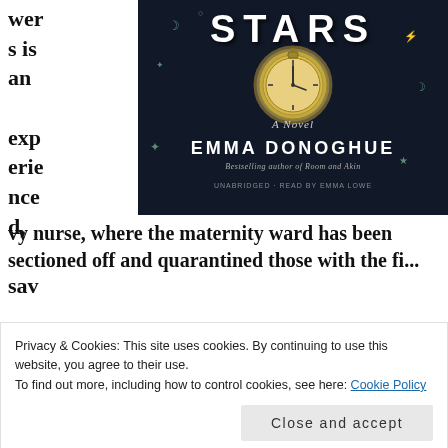[Figure (illustration): Book cover of 'Stars' by Emma Donoghue — dark background with a pocket watch, celestial doodles, title in large white letters, subtitle 'A Novel', author name 'EMMA DONOGHUE', 'Bestselling author of Room and Akin', 'UNABRIDGED · READ BY EMMA LOWE']
wers is an experienced, savvy nurse, where the maternity ward has been sectioned off and quarantined those with the fi...
Privacy & Cookies: This site uses cookies. By continuing to use this website, you agree to their use.
To find out more, including how to control cookies, see here: Cookie Policy
Close and accept
Kathleen Lynn, a Sinn Fein rebel, successfully avoiding